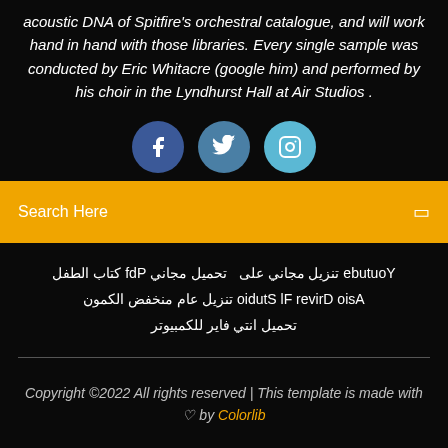acoustic DNA of Spitfire's orchestral catalogue, and will work hand in hand with those libraries. Every single sample was conducted by Eric Whitacre (google him) and performed by his choir in the Lyndhurst Hall at Air Studios .
[Figure (illustration): Three social media icon buttons: Facebook (dark blue circle with 'f'), Twitter (medium blue circle with bird icon), Instagram (light blue circle with camera icon)]
Search Here
Youtube تنزيل مجاني على   تحميل مجاني Pdf كتاب الطفل Asio Driver Fl Studio تنزيل عام منخفض الكمون تحميل انتي فاير للكمبيوتر
Copyright ©2022 All rights reserved | This template is made with ♡ by Colorlib